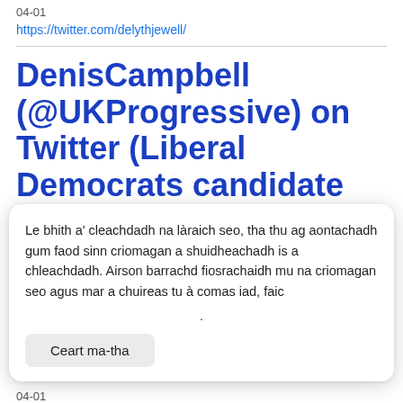04-01
https://twitter.com/delythjewell/
DenisCampbell (@UKProgressive) on Twitter (Liberal Democrats candidate for Vale of Glamorgan)
Le bhith a' cleachdadh na làraich seo, tha thu ag aontachadh gum faod sinn criomagan a shuidheachadh is a chleachdadh. Airson barrachd fiosrachaidh mu na criomagan seo agus mar a chuireas tu à comas iad, faic
.
Ceart ma-tha